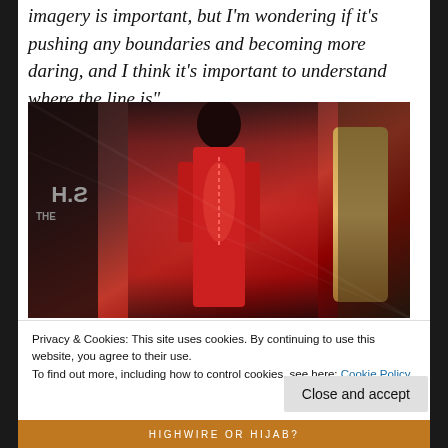imagery is important, but I'm wondering if it's pushing any boundaries and becoming more daring, and I think it's important to understand where the line is".
[Figure (photo): A mannequin in a red latex bodysuit displayed in a shop window. Reflected text shows 'carphone warehouse' (mirrored) on the right and partial text 'S.H.' on the left. Another gold mannequin is visible on the right side.]
Privacy & Cookies: This site uses cookies. By continuing to use this website, you agree to their use.
To find out more, including how to control cookies, see here: Cookie Policy
Close and accept